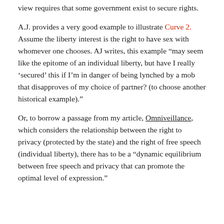view requires that some government exist to secure rights.
A.J. provides a very good example to illustrate Curve 2. Assume the liberty interest is the right to have sex with whomever one chooses. AJ writes, this example “may seem like the epitome of an individual liberty, but have I really ‘secured’ this if I’m in danger of being lynched by a mob that disapproves of my choice of partner? (to choose another historical example).”
Or, to borrow a passage from my article, Omniveillance, which considers the relationship between the right to privacy (protected by the state) and the right of free speech (individual liberty), there has to be a “dynamic equilibrium between free speech and privacy that can promote the optimal level of expression.”